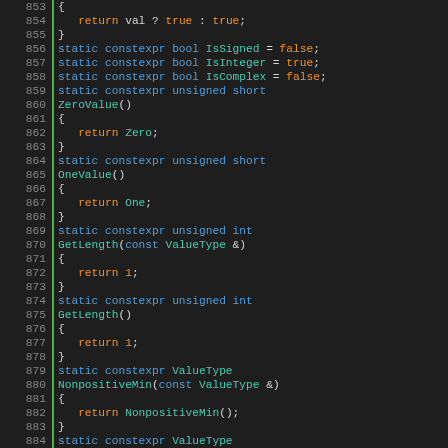[Figure (screenshot): Source code editor showing C++ code lines 853-887 with syntax highlighting. Green vertical bar as gutter, line numbers in gray, keywords in blue, function names in teal, return keyword in orange, boolean values in orange.]